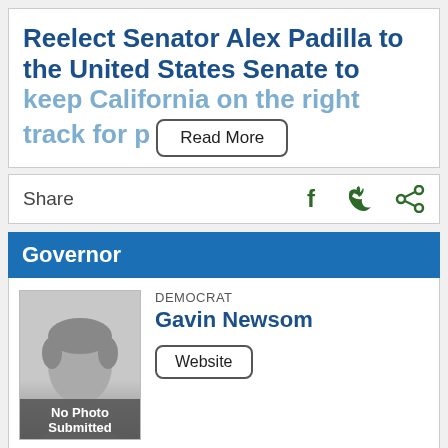Reelect Senator Alex Padilla to the United States Senate to keep California on the right track for p
Read More
Share
Governor
[Figure (photo): Placeholder silhouette image with 'No Photo Submitted' label]
DEMOCRAT
Gavin Newsom
Website